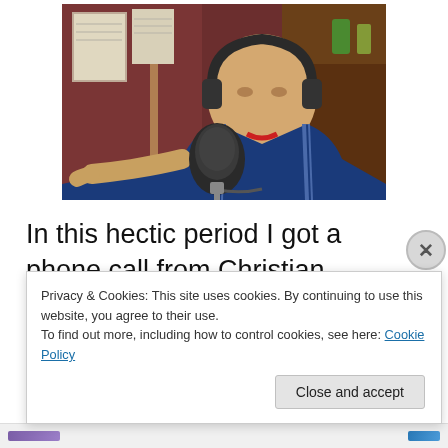[Figure (photo): A person wearing headphones speaking into a microphone in what appears to be a radio station. The person is wearing a blue jacket with stripes. Background shows papers on a wall and shelves.]
In this hectic period I got a phone call from Christian Teisnes at XOHIPHOP and he asked me, do you want to come down to my station and do an hour long show, my
Privacy & Cookies: This site uses cookies. By continuing to use this website, you agree to their use.
To find out more, including how to control cookies, see here: Cookie Policy
Close and accept